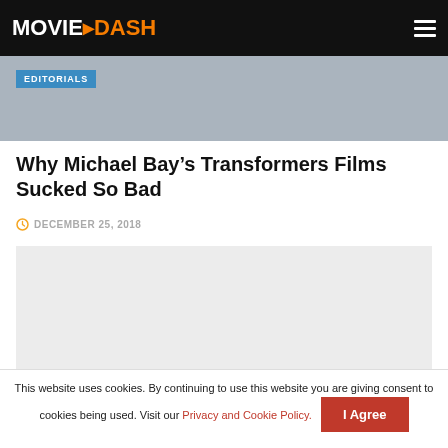MOVIEDASH
[Figure (photo): Hero image with EDITORIALS badge overlay, showing a blurred action/movie scene]
Why Michael Bay's Transformers Films Sucked So Bad
DECEMBER 25, 2018
[Figure (other): Advertisement placeholder box (light gray background)]
This website uses cookies. By continuing to use this website you are giving consent to cookies being used. Visit our Privacy and Cookie Policy. I Agree